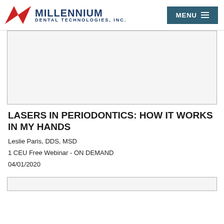Millennium Dental Technologies, Inc. — MENU
[Figure (other): Video/media placeholder box]
LASERS IN PERIODONTICS: HOW IT WORKS IN MY HANDS
Leslie Paris, DDS, MSD
1 CEU Free Webinar - ON DEMAND
04/01/2020
[Figure (other): Bottom placeholder box]